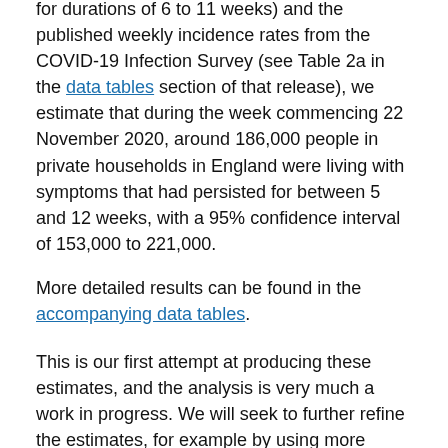for durations of 6 to 11 weeks) and the published weekly incidence rates from the COVID-19 Infection Survey (see Table 2a in the data tables section of that release), we estimate that during the week commencing 22 November 2020, around 186,000 people in private households in England were living with symptoms that had persisted for between 5 and 12 weeks, with a 95% confidence interval of 153,000 to 221,000.
More detailed results can be found in the accompanying data tables.
This is our first attempt at producing these estimates, and the analysis is very much a work in progress. We will seek to further refine the estimates, for example by using more sophisticated statistical techniques to account for the possibility of relapse and, should sample sizes allow, investigate symptoms persisting beyond 12 weeks.